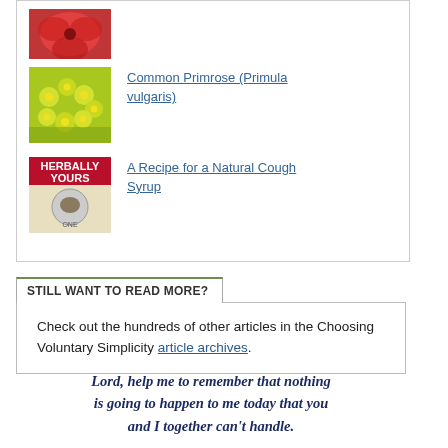[Figure (photo): Top of card showing partial red flower image]
[Figure (photo): Yellow primrose flowers photo thumbnail]
Common Primrose (Primula vulgaris)
[Figure (photo): Herbally Yours book cover thumbnail]
A Recipe for a Natural Cough Syrup
STILL WANT TO READ MORE?
Check out the hundreds of other articles in the Choosing Voluntary Simplicity article archives.
Lord, help me to remember that nothing is going to happen to me today that you and I together can't handle.